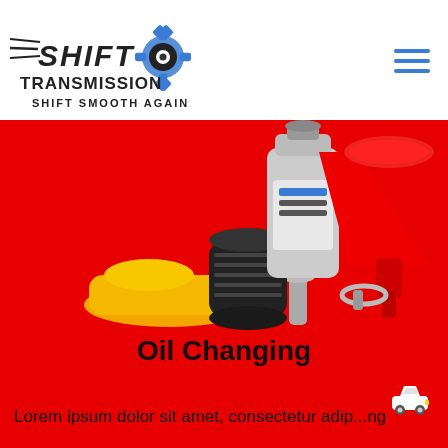[Figure (logo): Shift Transmission logo with gear and speed lines, text: SHIFT TRANSMISSION, SHIFT SMOOTH AGAIN]
[Figure (illustration): Hamburger/menu icon with three horizontal blue lines]
[Figure (photo): Oil changing supplies on red background: motor oil bottle, red funnel, oil filter, yellow cloth, clamp]
Oil Changing
[Figure (illustration): Small white car icon]
Lorem ipsum dolor sit amet, consectetur adip...ng